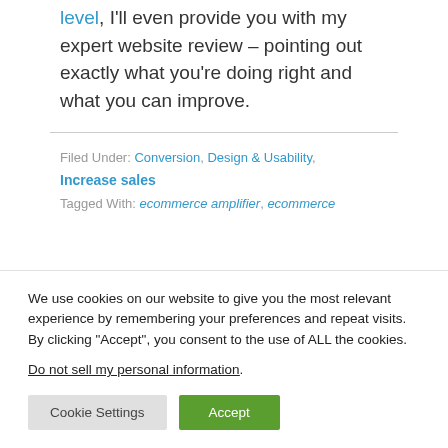level, I'll even provide you with my expert website review – pointing out exactly what you're doing right and what you can improve.
Filed Under: Conversion, Design & Usability, Increase sales
Tagged With: ecommerce amplifier, ecommerce
We use cookies on our website to give you the most relevant experience by remembering your preferences and repeat visits. By clicking "Accept", you consent to the use of ALL the cookies.
Do not sell my personal information.